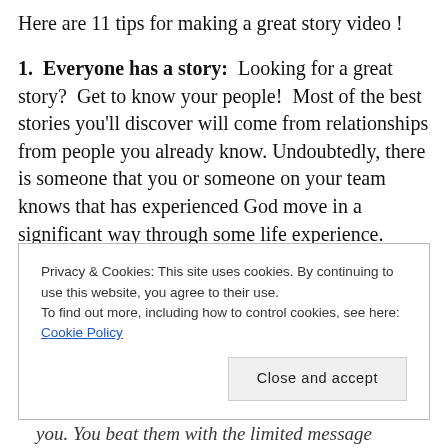Here are 11 tips for making a great story video !
1.  Everyone has a story:  Looking for a great story?  Get to know your people!  Most of the best stories you'll discover will come from relationships from people you already know. Undoubtedly, there is someone that you or someone on your team knows that has experienced God move in a significant way through some life experience.  Know who those people are and learn about their
Privacy & Cookies: This site uses cookies. By continuing to use this website, you agree to their use.
To find out more, including how to control cookies, see here: Cookie Policy
Close and accept
you. You beat them with the limited message